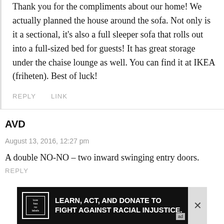Thank you for the compliments about our home! We actually planned the house around the sofa. Not only is it a sectional, it’s also a full sleeper sofa that rolls out into a full-sized bed for guests! It has great storage under the chaise lounge as well. You can find it at IKEA (friheten). Best of luck!
REPLY   LINK
AVD
August 13, 2016, 12:27 pm
A double NO-NO – two inward swinging entry doors.
[Figure (other): Advertisement banner: black background with logo 'love has no labels', text 'LEARN, ACT, AND DONATE TO FIGHT AGAINST RACIAL INJUSTICE.' with 'ad' badge]
REPLY